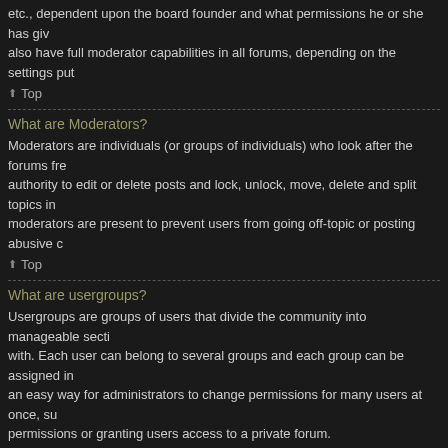etc., dependent upon the board founder and what permissions he or she has given also have full moderator capabilities in all forums, depending on the settings put
⬆ Top
What are Moderators?
Moderators are individuals (or groups of individuals) who look after the forums fre authority to edit or delete posts and lock, unlock, move, delete and split topics in moderators are present to prevent users from going off-topic or posting abusive c
⬆ Top
What are usergroups?
Usergroups are groups of users that divide the community into manageable secti with. Each user can belong to several groups and each group can be assigned in an easy way for administrators to change permissions for many users at once, su permissions or granting users access to a private forum.
⬆ Top
Where are the usergroups and how do I join one?
You can view all usergroups via the "Usergroups" link within your User Control P proceed by clicking the appropriate button. Not all groups have open access, how join, some may be closed and some may even have hidden memberships. If the clicking the appropriate button. If a group requires approval to join you may requ button. The user group leader will need to approve your request and may ask wh do not harass a group leader if they reject your request; they will have their reaso
⬆ Top